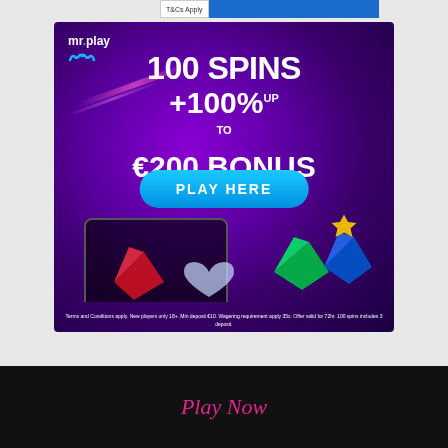[Figure (screenshot): Mr.Play casino advertisement banner with purple gradient background. Shows '100 SPINS +100% UP TO €200 BONUS' text with 'PLAY HERE' blue button. Phone with colorful gems/crystals visible. Terms text at bottom: 'Terms and Conditions apply. New players only 18+. Min deposit €10. Wagering requirement apply 35x. Offer valid for 72hr. 100 spins includes 3 deposit.']
Play Now